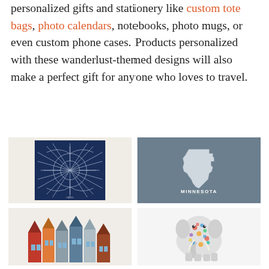personalized gifts and stationery like custom tote bags, photo calendars, notebooks, photo mugs, or even custom phone cases. Products personalized with these wanderlust-themed designs will also make a perfect gift for anyone who loves to travel.
[Figure (illustration): Paris street map print — dark navy blue street map of Paris on a cream/off-white background]
[Figure (illustration): Minnesota state silhouette in white on a slate gray/blue-gray background with the word MINNESOTA in white serif capital letters below]
[Figure (illustration): Amsterdam canal houses illustration — colorful row of Dutch-style narrow townhouses in red, orange, gray and blue tones on a light background]
[Figure (illustration): Colorful illustrated elephant covered in small cultural icons and patterns in red, blue, green, yellow on a white background]